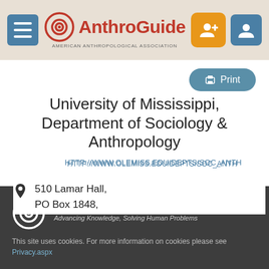AnthroGuide – American Anthropological Association
University of Mississippi, Department of Sociology & Anthropology
HTTP://WWW.OLEMISS.EDU/DEPTS/SOC_ANTH
510 Lamar Hall,
PO Box 1848,
[Figure (screenshot): Cookie consent overlay with Yes I agree button and American Anthropological Association footer logo]
AMERICAN ANTHROPOLOGICAL ASSOCIATION
Advancing Knowledge, Solving Human Problems
This site uses cookies. For more information on cookies please see Privacy.aspx